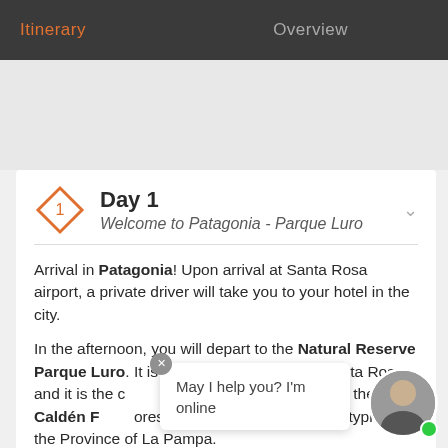Itinerary   Overview
Day 1 Welcome to Patagonia - Parque Luro
Arrival in Patagonia! Upon arrival at Santa Rosa airport, a private driver will take you to your hotel in the city.
In the afternoon, you will depart to the Natural Reserve Parque Luro. It is located 75 km south of Santa Rosa and it is the closest nature reserve to the Caldén Forest, a native Argentine forest typical of the Province of La Pampa.
May I help you? I'm online